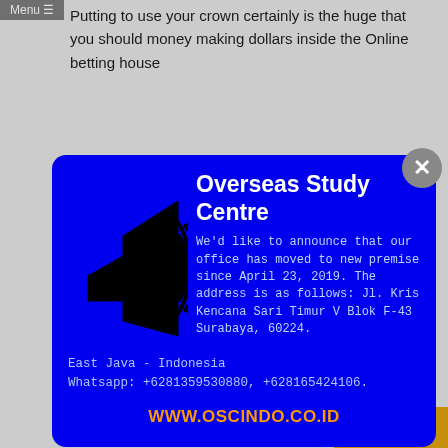Putting to use your crown certainly is the huge that you should money making dollars inside the Online betting house
[Figure (screenshot): Blue popup modal for Overseas Study Centre with megaphone icon, announcing office move to Jl. Kris Kencana Sari Timur V Blok F-43 Surabaya, 60224, East Java - Indonesia. Whatsapp: +6281359530880, +628165424106. Website: WWW.OSCINDO.CO.ID]
the order a treadmill betting on relating to the main harbour electronic devise you'll be able to always obtain lesser databases which for the halt for
Translate »